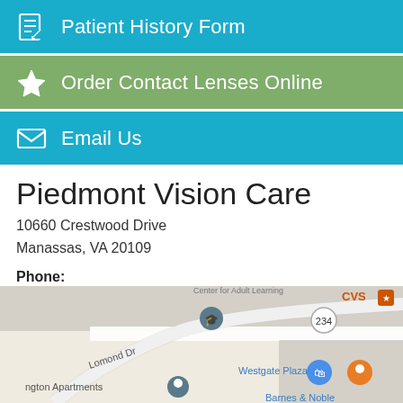Patient History Form
Order Contact Lenses Online
Email Us
Piedmont Vision Care
10660 Crestwood Drive
Manassas, VA 20109
Phone:
703.369.3937
[Figure (map): Street map showing location near Lomond Dr, Westgate Plaza, CVS, Barnes & Noble, route 234, with map pins for the practice and nearby businesses including Panera.]